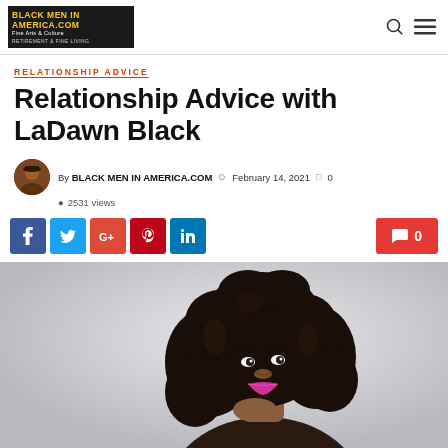BLACK MEN IN AMERICA.COM — Retirement & Fine Living
RELATIONSHIP ADVICE
Relationship Advice with LaDawn Black
By BLACK MEN IN AMERICA.COM  February 14, 2021  0  2531 views
[Figure (photo): Portrait of a Black woman with large natural curly hair, wearing pink lipstick, hand on chin, looking upward, light gray background]